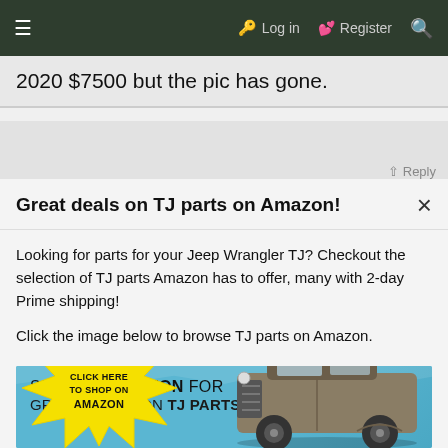≡  🔑 Log in  🗔 Register  🔍
2020 $7500 but the pic has gone.
↑ Reply
Great deals on TJ parts on Amazon!
Looking for parts for your Jeep Wrangler TJ? Checkout the selection of TJ parts Amazon has to offer, many with 2-day Prime shipping!
Click the image below to browse TJ parts on Amazon.
[Figure (illustration): Advertisement banner: 'SHOP ON AMAZON FOR GREAT DEALS ON TJ PARTS' with a yellow starburst saying 'CLICK HERE TO SHOP ON AMAZON' and an illustrated Jeep Wrangler TJ on a blue background.]